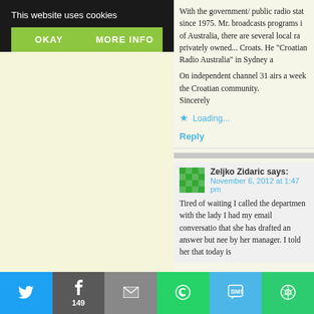This website uses cookies
OKAY
MORE INFO
With the government/public radio... since 1975. Mr. broadcasts programs in of Australia, there are several local ra... privately owned... Croats. He... 'Croatian Radio Australia' in Sydney a...
On independent channel 31 airs a weekly... the Croatian community.
Sincerely
Loading...
Reply
Zeljko Zidaric says:
November 6, 2012 at 1:47 pm
Tired of waiting I called the department... with the lady I had my email conversati... that she has drafted an answer but need... by her manager. I told her that today is
149